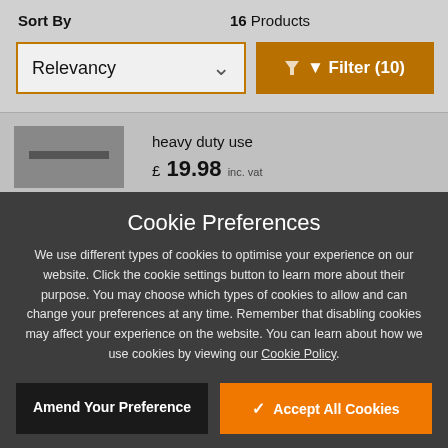Sort By
16 Products
Relevancy
Filter (10)
heavy duty use
£ 19.98 inc. vat
Cookie Preferences
We use different types of cookies to optimise your experience on our website. Click the cookie settings button to learn more about their purpose. You may choose which types of cookies to allow and can change your preferences at any time. Remember that disabling cookies may affect your experience on the website. You can learn about how we use cookies by viewing our Cookie Policy.
Amend Your Preference
Accept All Cookies